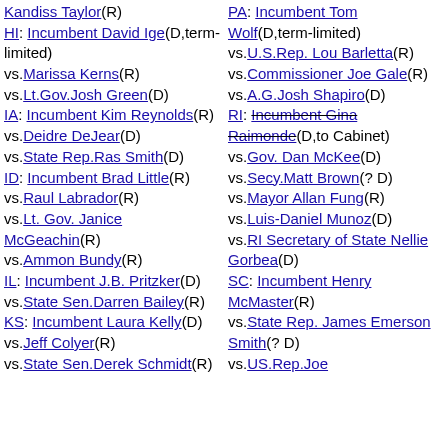Kandiss Taylor(R)
HI: Incumbent David Ige(D,term-limited) vs.Marissa Kerns(R) vs.Lt.Gov.Josh Green(D)
IA: Incumbent Kim Reynolds(R) vs.Deidre DeJear(D) vs.State Rep.Ras Smith(D)
ID: Incumbent Brad Little(R) vs.Raul Labrador(R) vs.Lt. Gov. Janice McGeachin(R) vs.Ammon Bundy(R)
IL: Incumbent J.B. Pritzker(D) vs.State Sen.Darren Bailey(R)
KS: Incumbent Laura Kelly(D) vs.Jeff Colyer(R) vs.State Sen.Derek Schmidt(R)
PA: Incumbent Tom Wolf(D,term-limited) vs.U.S.Rep. Lou Barletta(R) vs.Commissioner Joe Gale(R) vs.A.G.Josh Shapiro(D)
RI: Incumbent Gina Raimonde(D,to Cabinet) vs.Gov. Dan McKee(D) vs.Secy.Matt Brown(? D) vs.Mayor Allan Fung(R) vs.Luis-Daniel Munoz(D) vs.RI Secretary of State Nellie Gorbea(D)
SC: Incumbent Henry McMaster(R) vs.State Rep. James Emerson Smith(? D) vs.US.Rep.Joe [cut off]